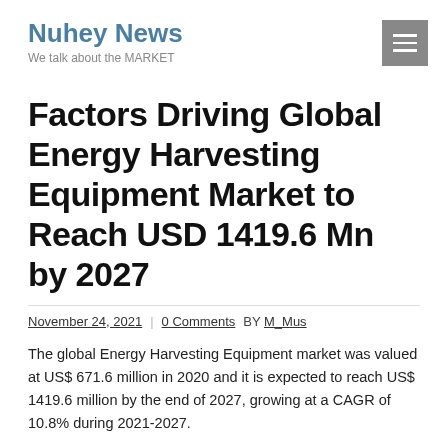Nuhey News
We talk about the MARKET
Factors Driving Global Energy Harvesting Equipment Market to Reach USD 1419.6 Mn by 2027
November 24, 2021 | 0 Comments BY M_Mus
The global Energy Harvesting Equipment market was valued at US$ 671.6 million in 2020 and it is expected to reach US$ 1419.6 million by the end of 2027, growing at a CAGR of 10.8% during 2021-2027.